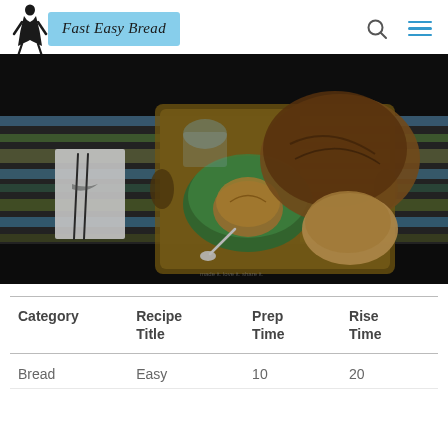Fast Easy Bread
[Figure (photo): Overhead photo of a wooden serving tray with artisan bread loaves, a green ceramic bowl with a small bread round and spoon, a glass of water, a fork and knife wrapped in a white napkin, all on a dark table with a striped blue and green cloth in the background.]
| Category | Recipe Title | Prep Time | Rise Time |
| --- | --- | --- | --- |
| Bread | Easy | 10 | 20 |